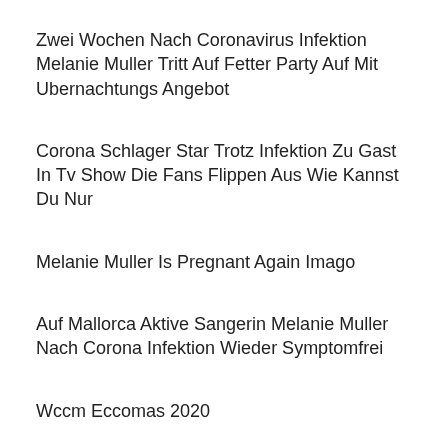Zwei Wochen Nach Coronavirus Infektion Melanie Muller Tritt Auf Fetter Party Auf Mit Ubernachtungs Angebot
Corona Schlager Star Trotz Infektion Zu Gast In Tv Show Die Fans Flippen Aus Wie Kannst Du Nur
Melanie Muller Is Pregnant Again Imago
Auf Mallorca Aktive Sangerin Melanie Muller Nach Corona Infektion Wieder Symptomfrei
Wccm Eccomas 2020